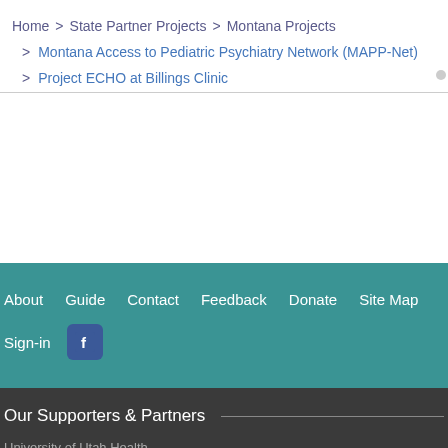Home  >  State Partner Projects  >  Montana Projects
Montana Access to Pediatric Psychiatry Network (MAPP-Net)
Project ECHO at Billings Clinic
About   Guide   Contact   Feedback   Donate   Site Map
Sign-in  [Facebook]
Our Supporters & Partners
University of Utah Health
Utah Department of Health & Human Services